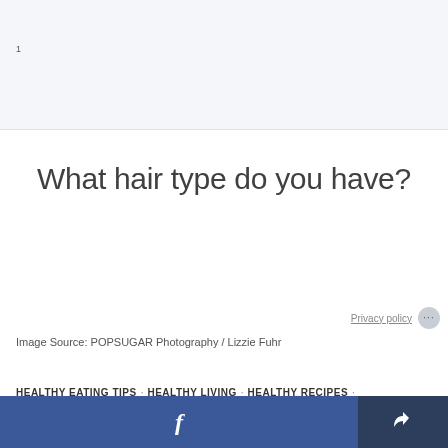[Figure (screenshot): Light gray top bar/header area of a webpage]
What hair type do you have?
Privacy policy
Image Source: POPSUGAR Photography / Lizzie Fuhr
HEALTHY EATING TIPS · HEALTHY LIVING · HEALTHY RECIPES ·
[Figure (screenshot): Blue Facebook share button and dark share button at the bottom of the page]